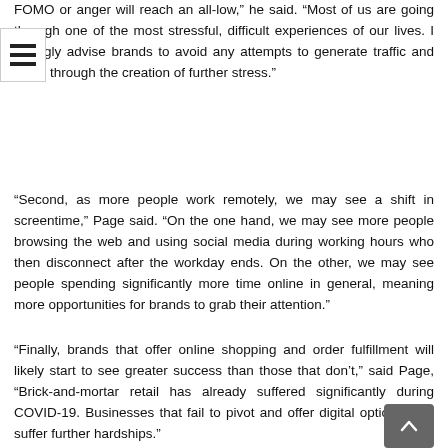FOMO or anger will reach an all-low," he said. "Most of us are going through one of the most stressful, difficult experiences of our lives. I strongly advise brands to avoid any attempts to generate traffic and leads through the creation of further stress."
"Second, as more people work remotely, we may see a shift in screentime," Page said. "On the one hand, we may see more people browsing the web and using social media during working hours who then disconnect after the workday ends. On the other, we may see people spending significantly more time online in general, meaning more opportunities for brands to grab their attention."
"Finally, brands that offer online shopping and order fulfillment will likely start to see greater success than those that don't," said Page, "Brick-and-mortar retail has already suffered significantly during COVID-19. Businesses that fail to pivot and offer digital options may suffer further hardships."